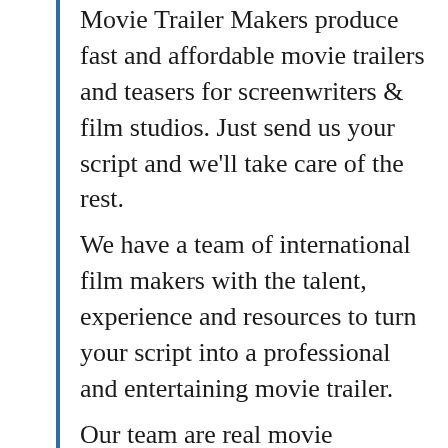Movie Trailer Makers produce fast and affordable movie trailers and teasers for screenwriters & film studios. Just send us your script and we'll take care of the rest.
We have a team of international film makers with the talent, experience and resources to turn your script into a professional and entertaining movie trailer.
Our team are real movie directors who have worked on dozens of feature films, documentaries and TV series.